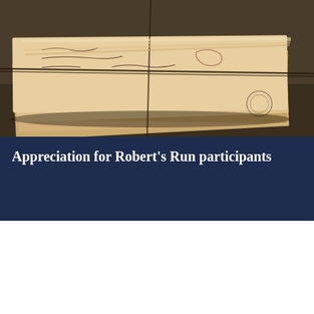[Figure (photo): A stack of old handwritten letters or envelopes tied together with string, photographed on a dark background with warm brown tones.]
Appreciation for Robert's Run participants